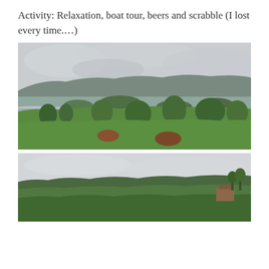Activity: Relaxation, boat tour, beers and scrabble (I lost every time.…)
[Figure (photo): Aerial landscape view from a hilltop showing a lake with multiple green islands, surrounded by lush green hills and trees under a cloudy grey sky.]
[Figure (photo): Landscape view of rolling green forested hills under a pale overcast sky, with a building partially visible on the right side.]